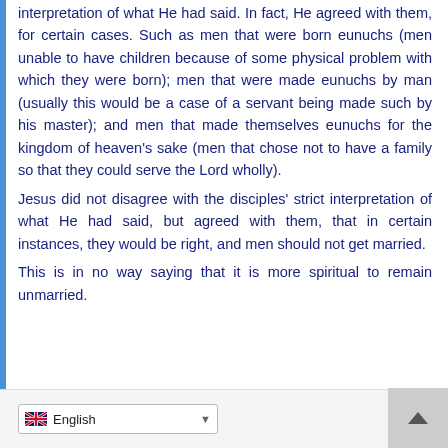interpretation of what He had said. In fact, He agreed with them, for certain cases. Such as men that were born eunuchs (men unable to have children because of some physical problem with which they were born); men that were made eunuchs by man (usually this would be a case of a servant being made such by his master); and men that made themselves eunuchs for the kingdom of heaven’s sake (men that chose not to have a family so that they could serve the Lord wholly).
Jesus did not disagree with the disciples’ strict interpretation of what He had said, but agreed with them, that in certain instances, they would be right, and men should not get married.
This is in no way saying that it is more spiritual to remain unmarried.
English